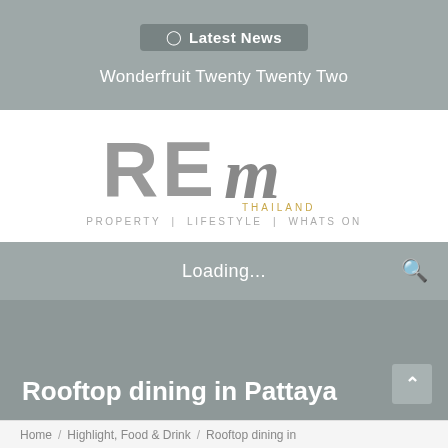Latest News
Wonderfruit Twenty Twenty Two
[Figure (logo): REm Thailand logo with tagline PROPERTY | LIFESTYLE | WHATS ON]
Loading...
Rooftop dining in Pattaya
Home / Highlight, Food & Drink / Rooftop dining in